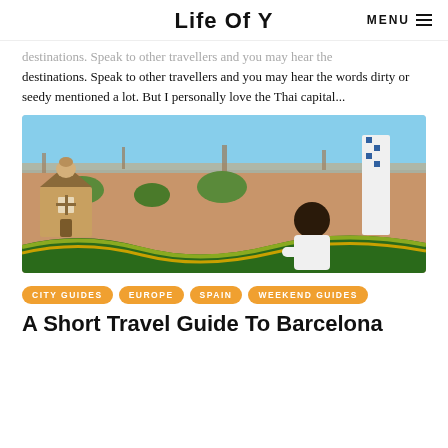Life Of Y  MENU
destinations. Speak to other travellers and you may hear the words dirty or seedy mentioned a lot. But I personally love the Thai capital...
[Figure (photo): A person looking out over the Barcelona cityscape from Park Güell, with Gaudí-designed mosaic benches and gingerbread-style gatehouses in the foreground and the Mediterranean Sea in the background.]
CITY GUIDES
EUROPE
SPAIN
WEEKEND GUIDES
A Short Travel Guide To Barcelona